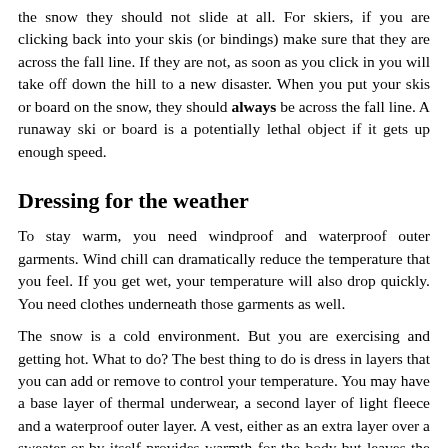the snow they should not slide at all. For skiers, if you are clicking back into your skis (or bindings) make sure that they are across the fall line. If they are not, as soon as you click in you will take off down the hill to a new disaster. When you put your skis or board on the snow, they should always be across the fall line. A runaway ski or board is a potentially lethal object if it gets up enough speed.
Dressing for the weather
To stay warm, you need windproof and waterproof outer garments. Wind chill can dramatically reduce the temperature that you feel. If you get wet, your temperature will also drop quickly. You need clothes underneath those garments as well.
The snow is a cold environment. But you are exercising and getting hot. What to do? The best thing to do is dress in layers that you can add or remove to control your temperature. You may have a base layer of thermal underwear, a second layer of light fleece and a waterproof outer layer. A vest, either as an extra layer over a sweater or by itself provides warmth for the body but leaves the arms free. Cotton is not a very efficient insulator, and is even less effective when it is damp or wet. The outer layer may be padded and insulated, or just a shell. Many people prefer a shell as they believe that this offers the greatest flexibility. You can buy parkas with zip-out liners. Others buy shell suits; it is all a case of what th...